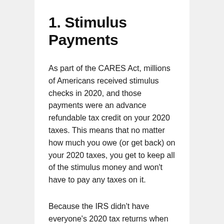1. Stimulus Payments
As part of the CARES Act, millions of Americans received stimulus checks in 2020, and those payments were an advance refundable tax credit on your 2020 taxes. This means that no matter how much you owe (or get back) on your 2020 taxes, you get to keep all of the stimulus money and won't have to pay any taxes on it.
Because the IRS didn't have everyone's 2020 tax returns when they issued the stimulus checks, they based the stimulus payments